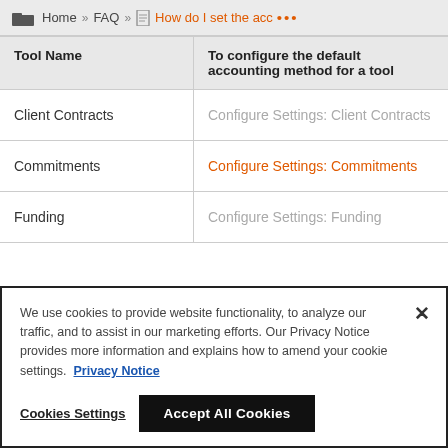Home » FAQ » How do I set the acc •••
| Tool Name | To configure the default accounting method for a tool |
| --- | --- |
| Client Contracts | Configure Settings: Client Contracts |
| Commitments | Configure Settings: Commitments |
| Funding | Configure Settings: Funding |
We use cookies to provide website functionality, to analyze our traffic, and to assist in our marketing efforts. Our Privacy Notice provides more information and explains how to amend your cookie settings. Privacy Notice
Cookies Settings   Accept All Cookies